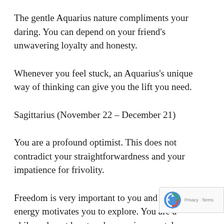The gentle Aquarius nature compliments your daring. You can depend on your friend's unwavering loyalty and honesty.
Whenever you feel stuck, an Aquarius's unique way of thinking can give you the lift you need.
Sagittarius (November 22 – December 21)
You are a profound optimist. This does not contradict your straightforwardness and your impatience for frivolity.
Freedom is very important to you and your high energy motivates you to explore. You are a philosopher at heart and you enjoy mental challenges.